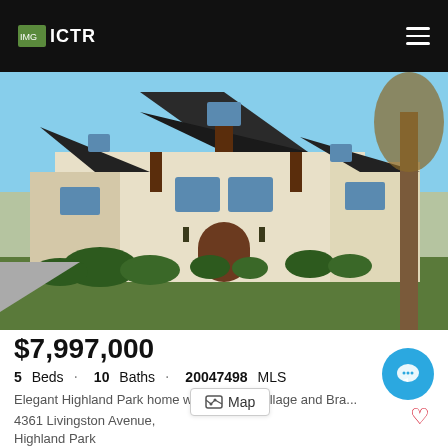ICTR
[Figure (photo): Exterior photo of a large Tudor-style luxury home with white stucco, dark wood trim, multi-gable dark roof, arched front door, manicured hedges and landscaping, large tree on right side.]
$7,997,000
5 Beds · 10 Baths · 20047498 MLS
Elegant Highland Park home wa ... HP Village and Bra ...
4361 Livingston Avenue, Highland Park